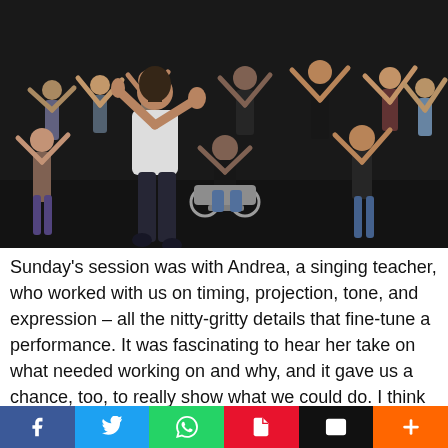[Figure (photo): A dance or movement workshop session on a dark stage. Many people are stretching and moving with arms raised. A woman in a white top and dark leggings is in the foreground. A person in a wheelchair is in the center background. The setting is a theatre rehearsal space.]
Sunday's session was with Andrea, a singing teacher, who worked with us on timing, projection, tone, and expression – all the nitty-gritty details that fine-tune a performance. It was fascinating to hear her take on what needed working on and why, and it gave us a chance, too, to really show what we could do. I think everyone stood a little straighter and sang out a little prouder that afternoon, to prove Andrea's